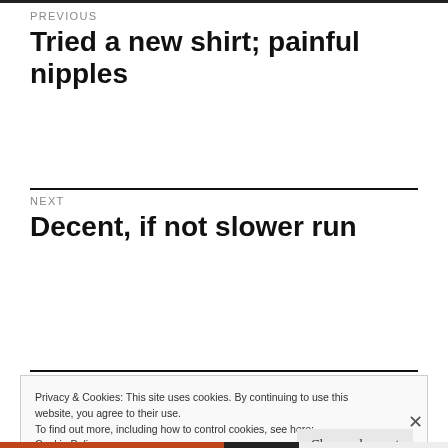PREVIOUS
Tried a new shirt; painful nipples
NEXT
Decent, if not slower run
Privacy & Cookies: This site uses cookies. By continuing to use this website, you agree to their use.
To find out more, including how to control cookies, see here:
Cookie Policy